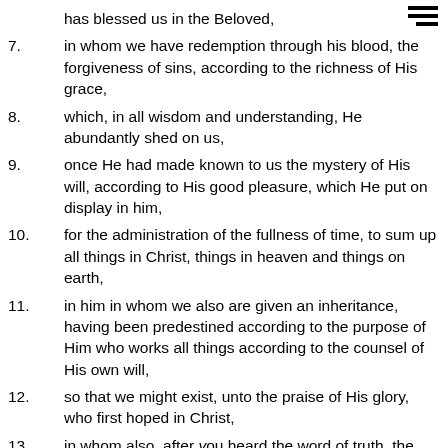has blessed us in the Beloved,
7. in whom we have redemption through his blood, the forgiveness of sins, according to the richness of His grace,
8. which, in all wisdom and understanding, He abundantly shed on us,
9. once He had made known to us the mystery of His will, according to His good pleasure, which He put on display in him,
10. for the administration of the fullness of time, to sum up all things in Christ, things in heaven and things on earth,
11. in him in whom we also are given an inheritance, having been predestined according to the purpose of Him who works all things according to the counsel of His own will,
12. so that we might exist, unto the praise of His glory, who first hoped in Christ,
13. in whom also, after you heard the word of truth, the gospel of your salvation in which you also believed,